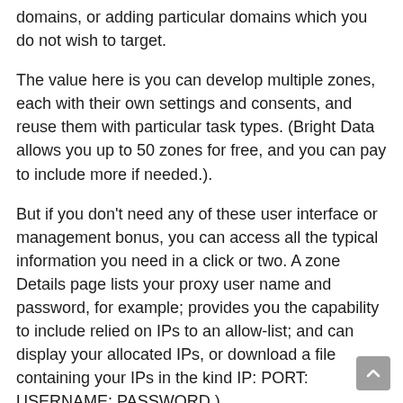domains, or adding particular domains which you do not wish to target.
The value here is you can develop multiple zones, each with their own settings and consents, and reuse them with particular task types. (Bright Data allows you up to 50 zones for free, and you can pay to include more if needed.).
But if you don't need any of these user interface or management bonus, you can access all the typical information you need in a click or two. A zone Details page lists your proxy user name and password, for example; provides you the capability to include relied on IPs to an allow-list; and can display your allocated IPs, or download a file containing your IPs in the kind IP: PORT: USERNAME: PASSWORD.).